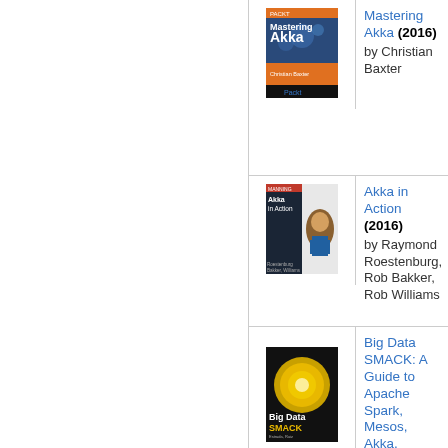[Figure (illustration): Book cover of Mastering Akka (2016), Packt publishing]
Mastering Akka (2016) by Christian Baxter
[Figure (illustration): Book cover of Akka in Action (2016), Manning publishing]
Akka in Action (2016) by Raymond Roestenburg, Rob Bakker, Rob Williams
[Figure (illustration): Book cover of Big Data SMACK: A Guide to Apache Spark, Mesos, Akka, Cassandra, and Kafka (2016)]
Big Data SMACK: A Guide to Apache Spark, Mesos, Akka, Cassandra, and Kafka (2016) by Raul Estrada, Isaac Ruiz